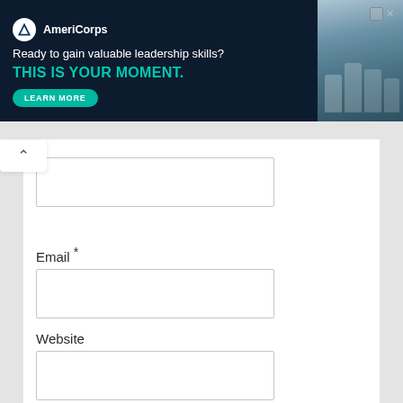[Figure (screenshot): AmeriCorps advertisement banner with dark navy background. Logo with white circle containing AmeriCorps 'A' icon, brand name 'AmeriCorps'. Text: 'Ready to gain valuable leadership skills?' and 'THIS IS YOUR MOMENT.' in teal/cyan bold text. Green 'LEARN MORE' button. Photo of people on right side. Close/skip button top right.]
Email *
Website
Save my name, email, and website in this browser for the next time I comment.